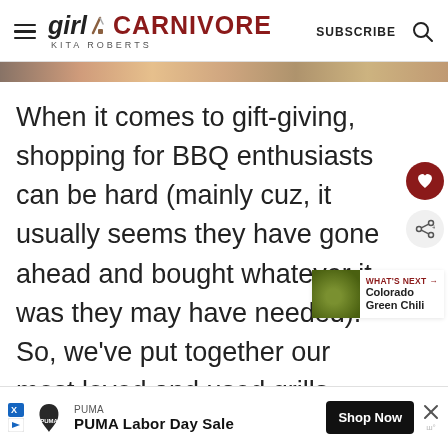Girl Carnivore – Kita Roberts | SUBSCRIBE
[Figure (photo): Partial image strip of food photos at top of page]
When it comes to gift-giving, shopping for BBQ enthusiasts can be hard (mainly cuz, it usually seems they have gone ahead and bought whatever it was they may have needed). So, we've put together our most loved and used grills, t… accessories, and even some fun b…
[Figure (photo): What's Next thumbnail: Colorado Green Chili – circular green food image]
WHAT'S NEXT → Colorado Green Chili
[Figure (other): PUMA Labor Day Sale advertisement banner with Shop Now button]